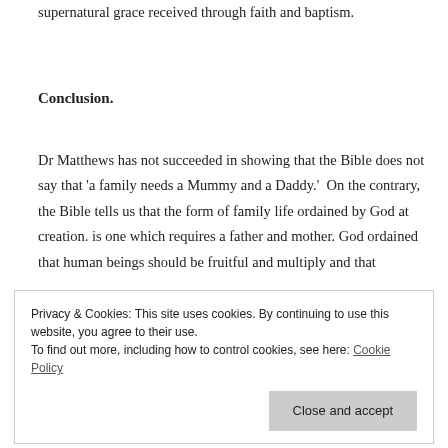supernatural grace received through faith and baptism.
Conclusion.
Dr Matthews has not succeeded in showing that the Bible does not say that ‘a family needs a Mummy and a Daddy.’  On the contrary, the Bible tells us that the form of family life ordained by God at creation. is one which requires a father and mother. God ordained that human beings should be fruitful and multiply and that
Privacy & Cookies: This site uses cookies. By continuing to use this website, you agree to their use. To find out more, including how to control cookies, see here: Cookie Policy